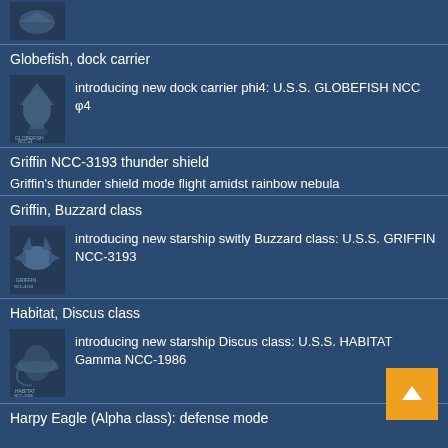[Figure (illustration): Partial ship image at top of page]
Globefish, dock carrier
introducing new dock carrier phi4: U.S.S. GLOBEFISH NCC φ4
[Figure (illustration): Globefish dock carrier spacecraft model image]
Griffin NCC-3193 thunder shield
Griffin's thunder shield mode flight amidst rainbow nebula
Griffin, Buzzard class
introducing new starship switly Buzzard class: U.S.S. GRIFFIN NCC-3193
[Figure (illustration): Griffin Buzzard class starship model image]
Habitat, Discus class
introducing new starship Discus class: U.S.S. HABITAT Gamma NCC-1986
[Figure (illustration): Habitat Discus class starship model image]
Harpy Eagle (Alpha class): defense mode